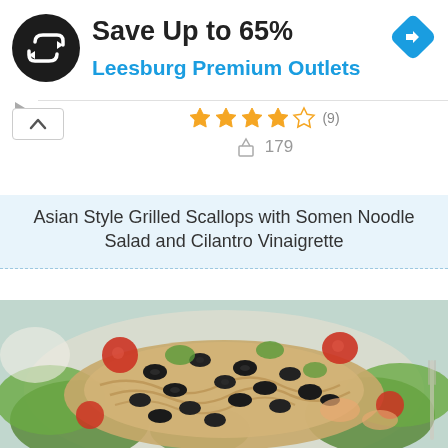[Figure (screenshot): Advertisement banner for Leesburg Premium Outlets app with circular black logo containing looping arrows symbol]
Save Up to 65%
Leesburg Premium Outlets
[Figure (other): Blue diamond-shaped navigation/direction arrow icon in top right of ad]
★★★★☆ (9)
179
Asian Style Grilled Scallops with Somen Noodle Salad and Cilantro Vinaigrette
[Figure (photo): Food photo showing Asian style grilled scallops with somen noodle salad, garnished with black olives, cherry tomatoes, lettuce, and herbs on a white plate]